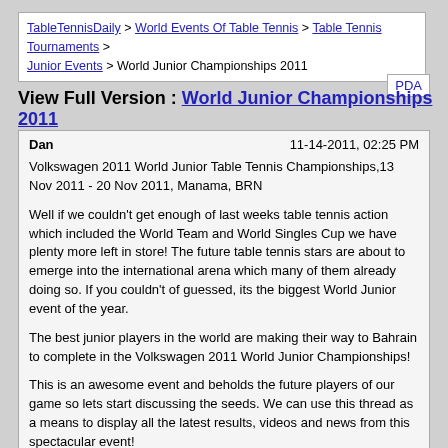TableTennisDaily > World Events Of Table Tennis > Table Tennis Tournaments > Junior Events > World Junior Championships 2011
View Full Version : World Junior Championships 2011
Dan  11-14-2011, 02:25 PM
Volkswagen 2011 World Junior Table Tennis Championships,13 Nov 2011 - 20 Nov 2011, Manama, BRN

Well if we couldn't get enough of last weeks table tennis action which included the World Team and World Singles Cup we have plenty more left in store! The future table tennis stars are about to emerge into the international arena which many of them already doing so. If you couldn't of guessed, its the biggest World Junior event of the year.

The best junior players in the world are making their way to Bahrain to complete in the Volkswagen 2011 World Junior Championships!

This is an awesome event and beholds the future players of our game so lets start discussing the seeds. We can use this thread as a means to display all the latest results, videos and news from this spectacular event!

http://www.ettu.org/public/Image/niwa_30_04_09_Large.jpg
Photo by: ITTF

Play commences on Sunday 13th November and concludes on Sunday 20th Nevember 2011 being staged in a new purpose built table tennis facility.

The tournament is spilt into two parts with a team event followed by the singles later in the week. The team event has reached the semi final stages with the draw below: